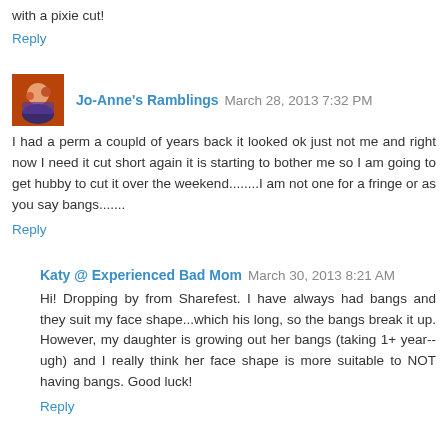with a pixie cut!
Reply
Jo-Anne's Ramblings  March 28, 2013 7:32 PM
I had a perm a coupld of years back it looked ok just not me and right now I need it cut short again it is starting to bother me so I am going to get hubby to cut it over the weekend........I am not one for a fringe or as you say bangs.......
Reply
Katy @ Experienced Bad Mom  March 30, 2013 8:21 AM
Hi! Dropping by from Sharefest. I have always had bangs and they suit my face shape...which his long, so the bangs break it up. However, my daughter is growing out her bangs (taking 1+ year--ugh) and I really think her face shape is more suitable to NOT having bangs. Good luck!
Reply